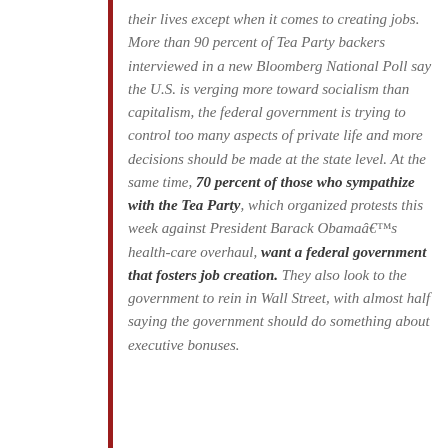their lives except when it comes to creating jobs. More than 90 percent of Tea Party backers interviewed in a new Bloomberg National Poll say the U.S. is verging more toward socialism than capitalism, the federal government is trying to control too many aspects of private life and more decisions should be made at the state level. At the same time, 70 percent of those who sympathize with the Tea Party, which organized protests this week against President Barack Obamaâ€™s health-care overhaul, want a federal government that fosters job creation. They also look to the government to rein in Wall Street, with almost half saying the government should do something about executive bonuses.